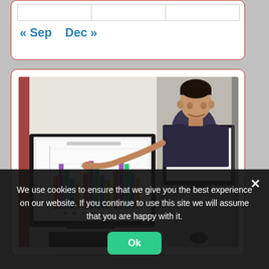« Sep   Dec »
[Figure (photo): Person standing next to two monitors showing a bar chart, pointing at the screen. Office desk environment.]
We use cookies to ensure that we give you the best experience on our website. If you continue to use this site we will assume that you are happy with it.
Ok